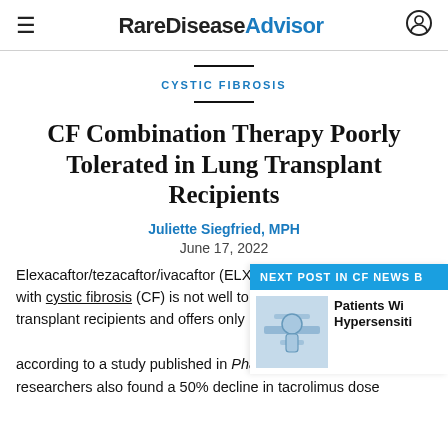RareDisease Advisor
CYSTIC FIBROSIS
CF Combination Therapy Poorly Tolerated in Lung Transplant Recipients
Juliette Siegfried, MPH
June 17, 2022
Elexacaftor/tezacaftor/ivacaftor (ELX with cystic fibrosis (CF) is not well to transplant recipients and offers only according to a study published in Pharmacotherapy. The researchers also found a 50% decline in tacrolimus dose
NEXT POST IN CF NEWS B
Patients Wi Hypersensiti